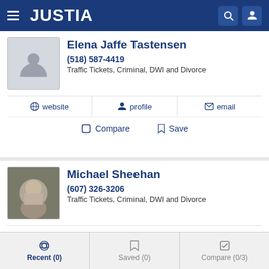JUSTIA
Elena Jaffe Tastensen
(518) 587-4419
Traffic Tickets, Criminal, DWI and Divorce
website  profile  email
Compare  Save
Michael Sheehan
(607) 326-3206
Traffic Tickets, Criminal, DWI and Divorce
profile
Compare  Save
Recent (0)  Saved (0)  Compare (0/3)